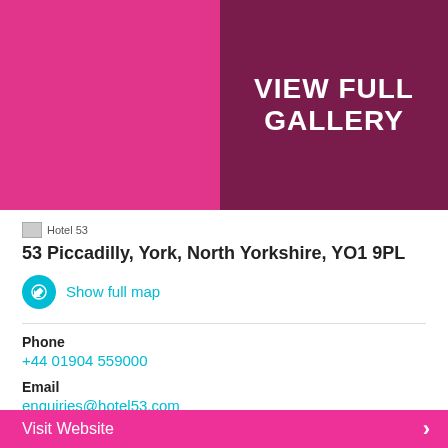[Figure (illustration): Pink/magenta colored block on left side of top banner]
[Figure (illustration): Dark maroon/purple block with white text 'VIEW FULL GALLERY' on right side of top banner]
Hotel 53
53 Piccadilly, York, North Yorkshire, YO1 9PL
Show full map
Phone
+44 01904 559000
Email
enquiries@hotel53.com
Visit Website